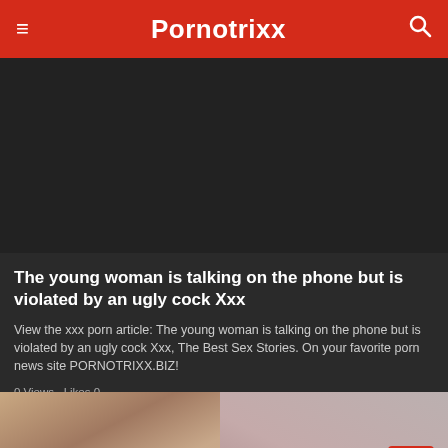Pornotrixx
[Figure (photo): Dark/black thumbnail image placeholder for video article]
The young woman is talking on the phone but is violated by an ugly cock Xxx
View the xxx porn article: The young woman is talking on the phone but is violated by an ugly cock Xxx, The Best Sex Stories. On your favorite porn news site PORNOTRIXX.BIZ!
0 Views · Likes 0
[Figure (photo): Thumbnail image for second article showing a person]